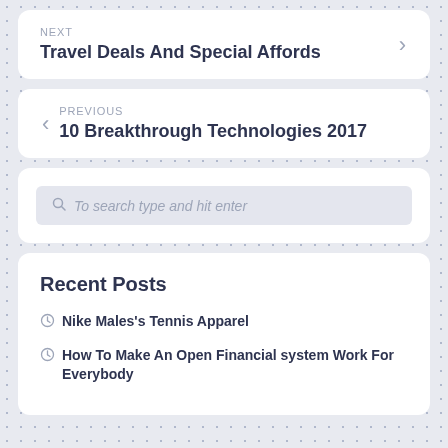NEXT
Travel Deals And Special Affords
PREVIOUS
10 Breakthrough Technologies 2017
To search type and hit enter
Recent Posts
Nike Males's Tennis Apparel
How To Make An Open Financial system Work For Everybody